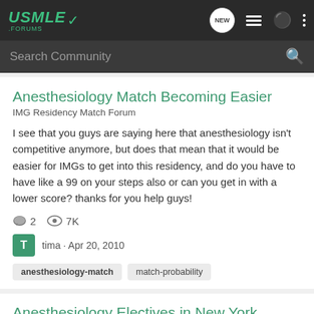[Figure (screenshot): USMLE Forums navigation bar with logo, NEW button, list icon, user icon, and dots menu]
[Figure (screenshot): Search Community input bar with magnifying glass icon]
Anesthesiology Match Becoming Easier
IMG Residency Match Forum
I see that you guys are saying here that anesthesiology isn't competitive anymore, but does that mean that it would be easier for IMGs to get into this residency, and do you have to have like a 99 on your steps also or can you get in with a lower score? thanks for you help guys!
2   7K
tima · Apr 20, 2010
anesthesiology-match   match-probability
Anesthesiology Electives in New York
USCE & Clinical Rotations